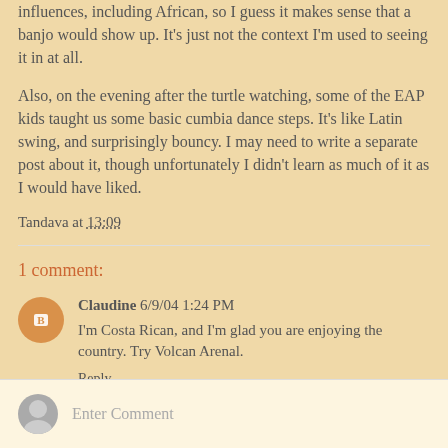influences, including African, so I guess it makes sense that a banjo would show up. It's just not the context I'm used to seeing it in at all.
Also, on the evening after the turtle watching, some of the EAP kids taught us some basic cumbia dance steps. It's like Latin swing, and surprisingly bouncy. I may need to write a separate post about it, though unfortunately I didn't learn as much of it as I would have liked.
Tandava at 13:09
1 comment:
Claudine 6/9/04 1:24 PM
I'm Costa Rican, and I'm glad you are enjoying the country. Try Volcan Arenal.
Reply
Enter Comment